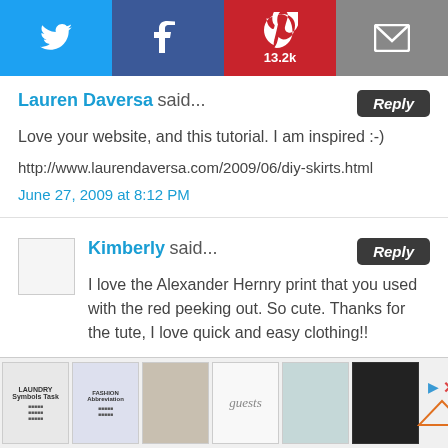[Figure (other): Social media sharing bar with Twitter, Facebook, Pinterest (13.2k), and Email buttons]
Lauren Daversa said...
Love your website, and this tutorial. I am inspired :-)
http://www.laurendaversa.com/2009/06/diy-skirts.html
June 27, 2009 at 8:12 PM
Kimberly said...
I love the Alexander Hernry print that you used with the red peeking out. So cute. Thanks for the tute, I love quick and easy clothing!!
June 29, 2009 at 4:05 AM
Samantha said...
[Figure (other): Advertisement bar at bottom with thumbnail images and Ashley furniture brand logo]